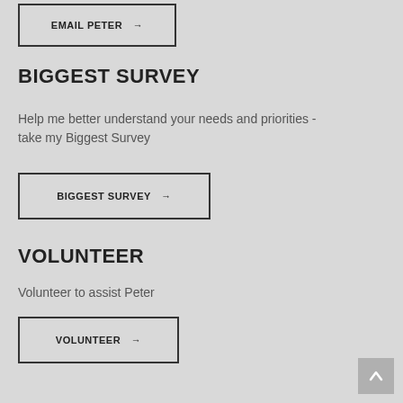EMAIL PETER →
BIGGEST SURVEY
Help me better understand your needs and priorities - take my Biggest Survey
BIGGEST SURVEY →
VOLUNTEER
Volunteer to assist Peter
VOLUNTEER →
[Figure (other): Scroll to top button with upward arrow icon]